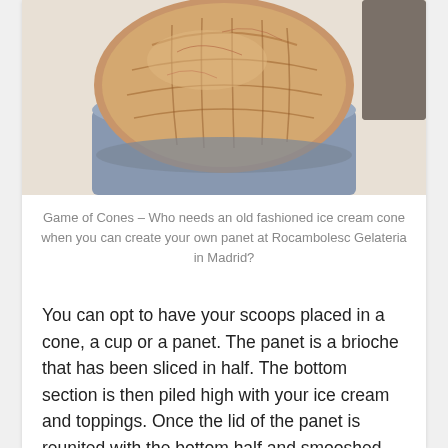[Figure (photo): Photo of a brioche panet (halved bread roll) filled with ice cream scoops, sitting in a blue paper bag/cup holder, viewed from above]
Game of Cones – Who needs an old fashioned ice cream cone when you can create your own panet at Rocambolesc Gelateria in Madrid?
You can opt to have your scoops placed in a cone, a cup or a panet. The panet is a brioche that has been sliced in half. The bottom section is then piled high with your ice cream and toppings. Once the lid of the panet is reunited with the bottom half and smooshed together with your sweet filling, the